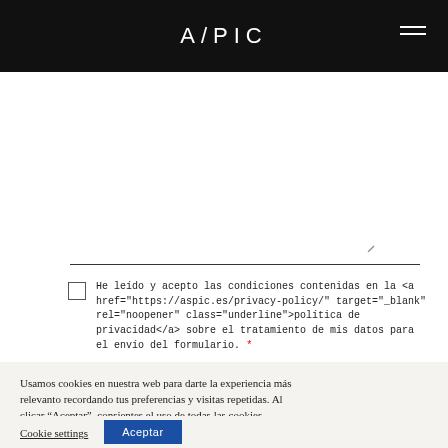ASPIC
He leído y acepto las condiciones contenidas en la <a href="https://aspic.es/privacy-policy/" target="_blank" rel="noopener" class="underline">politica de privacidad</a> sobre el tratamiento de mis datos para el envio del formulario. *
ENVIAR
Usamos cookies en nuestra web para darte la experiencia más relevanto recordando tus preferencias y visitas repetidas. Al clicar "Aceptar", consientes el uso de todas las cookies.
Cookie settings
Aceptar